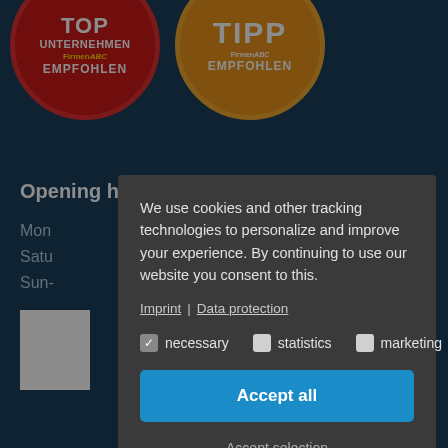[Figure (logo): Red circular badge with 'TOP UNTERNEHMEN EMPFOHLEN' text and FirmenABC logo]
[Figure (logo): Orange circular badge with 'TIPP EMPFOHLEN' text and FirmenABC logo]
Opening hours summer:
Mon
Satu
Sun-
We use cookies and other tracking technologies to personalize and improve your experience. By continuing to use our website you consent to this.
Imprint | Data protection
necessary   statistics   marketing
Accept all
Accept selection
www.systemmarketing.at